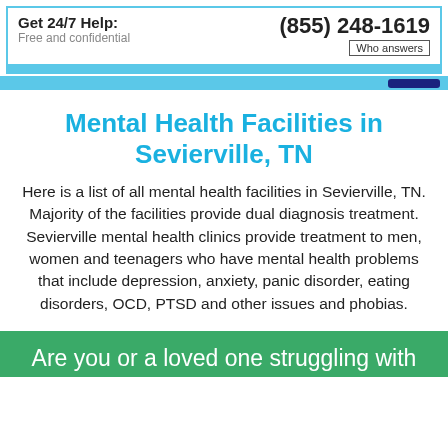Get 24/7 Help: Free and confidential | (855) 248-1619 | Who answers
Mental Health Facilities in Sevierville, TN
Here is a list of all mental health facilities in Sevierville, TN. Majority of the facilities provide dual diagnosis treatment. Sevierville mental health clinics provide treatment to men, women and teenagers who have mental health problems that include depression, anxiety, panic disorder, eating disorders, OCD, PTSD and other issues and phobias.
Are you or a loved one struggling with